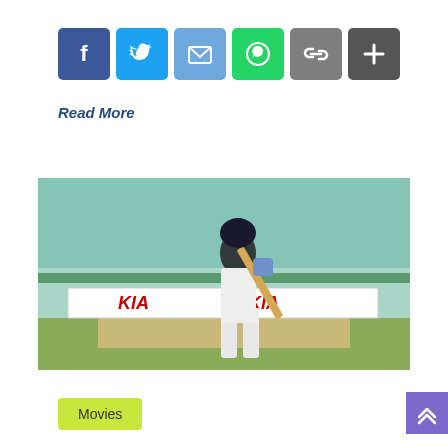[Figure (infographic): Social media sharing icons: Facebook (blue), Twitter (light blue), Email (blue), WhatsApp (green), Link (grey), Plus/More (dark grey)]
Read More
[Figure (photo): Cricket batsman in white uniform and dark helmet playing a drive shot on a cricket ground. KIA advertising boards visible in background.]
Movies
[Figure (infographic): Purple scroll-to-top button with double up arrow chevron]